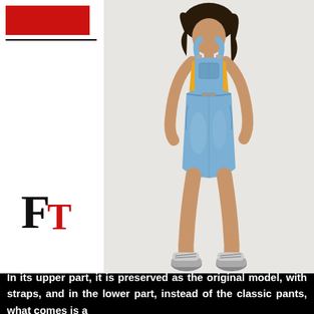[Figure (logo): FT logo with large black serif F and smaller red serif T]
[Figure (photo): Young woman wearing denim overall skirt (dungaree dress) with yellow top underneath, sneakers, white background]
In its upper part, it is preserved as the original model, with straps, and in the lower part, instead of the classic pants, what comes is a